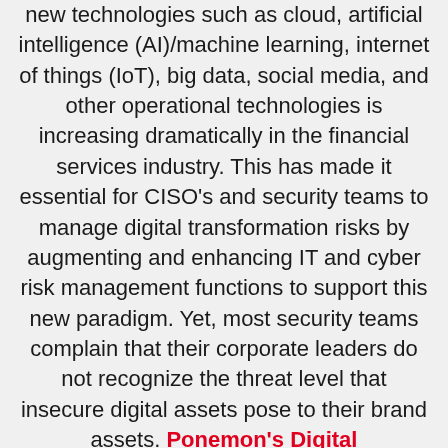new technologies such as cloud, artificial intelligence (AI)/machine learning, internet of things (IoT), big data, social media, and other operational technologies is increasing dramatically in the financial services industry. This has made it essential for CISO's and security teams to manage digital transformation risks by augmenting and enhancing IT and cyber risk management functions to support this new paradigm. Yet, most security teams complain that their corporate leaders do not recognize the threat level that insecure digital assets pose to their brand assets. Ponemon's Digital Transformation and Cyber Risk study indicates that 82% of IT security and C-level executives experienced at least one data breach when implementing new technologies and